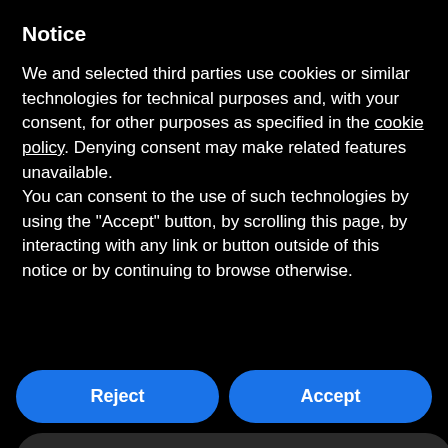Notice
We and selected third parties use cookies or similar technologies for technical purposes and, with your consent, for other purposes as specified in the cookie policy. Denying consent may make related features unavailable.
You can consent to the use of such technologies by using the "Accept" button, by scrolling this page, by interacting with any link or button outside of this notice or by continuing to browse otherwise.
Reject
Accept
Learn more and customize
where the margin of error can become very high.
Thanks to Service Mode, you can succeed in operations you thought unthinkable, becoming an accredited professional. We help in your daily